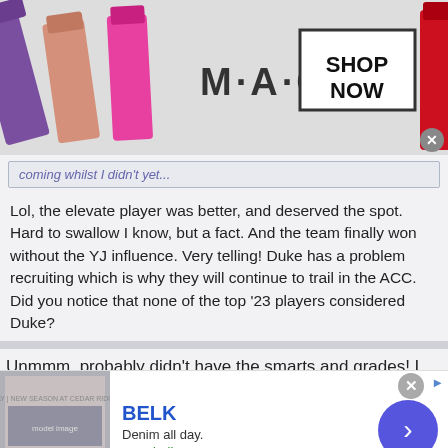[Figure (screenshot): MAC cosmetics advertisement banner with lipsticks and SHOP NOW button]
coming whilst I didn't yet...
Lol, the elevate player was better, and deserved the spot. Hard to swallow I know, but a fact. And the team finally won without the YJ influence. Very telling! Duke has a problem recruiting which is why they will continue to trail in the ACC. Did you notice that none of the top '23 players considered Duke?
Unmmm, probably didn't have the smarts and grades! I bet Duke girls get better jobs after college! Hmmmm
Anonymous #349831
Anonymous
[Figure (screenshot): BELK advertisement - Denim all day. www.belk.com]